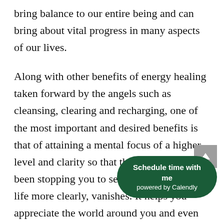bring balance to our entire being and can bring about vital progress in many aspects of our lives.
Along with other benefits of energy healing taken forward by the angels such as cleansing, clearing and recharging, one of the most important and desired benefits is that of attaining a mental focus of a higher level and clarity so that the fog that has been stopping you to see yourself and your life more clearly, vanishes. It helps you appreciate the world around you and even one within you and allows you to see the world fro positive perspective.